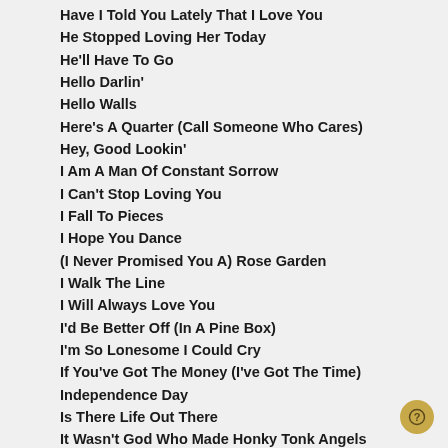Have I Told You Lately That I Love You
He Stopped Loving Her Today
He'll Have To Go
Hello Darlin'
Hello Walls
Here's A Quarter (Call Someone Who Cares)
Hey, Good Lookin'
I Am A Man Of Constant Sorrow
I Can't Stop Loving You
I Fall To Pieces
I Hope You Dance
(I Never Promised You A) Rose Garden
I Walk The Line
I Will Always Love You
I'd Be Better Off (In A Pine Box)
I'm So Lonesome I Could Cry
If You've Got The Money (I've Got The Time)
Independence Day
Is There Life Out There
It Wasn't God Who Made Honky Tonk Angels
It's Your Love